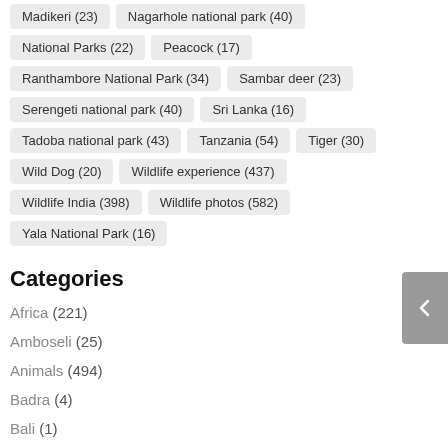Madikeri (23)
Nagarhole national park (40)
National Parks (22)
Peacock (17)
Ranthambore National Park (34)
Sambar deer (23)
Serengeti national park (40)
Sri Lanka (16)
Tadoba national park (43)
Tanzania (54)
Tiger (30)
Wild Dog (20)
Wildlife experience (437)
Wildlife India (398)
Wildlife photos (582)
Yala National Park (16)
Categories
Africa (221)
Amboseli (25)
Animals (494)
Badra (4)
Bali (1)